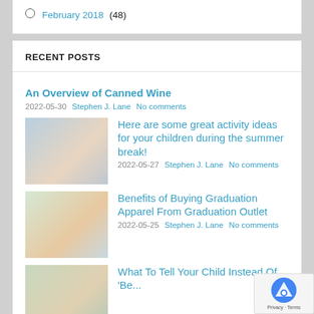February 2018 (48)
RECENT POSTS
An Overview of Canned Wine
2022-05-30  Stephen J. Lane  No comments
[Figure (photo): Child reading a book near a window]
Here are some great activity ideas for your children during the summer break!
2022-05-27  Stephen J. Lane  No comments
[Figure (photo): Two young children playing on the floor with toys]
Benefits of Buying Graduation Apparel From Graduation Outlet
2022-05-25  Stephen J. Lane  No comments
[Figure (photo): Woman partially visible at bottom of page]
What To Tell Your Child Instead Of 'Be...